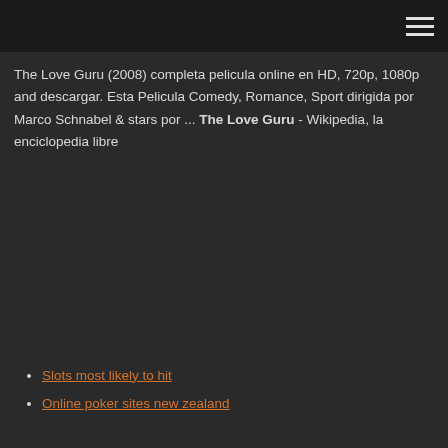The Love Guru (2008) completa pelicula online en HD, 720p, 1080p and descargar. Esta Pelicula Comedy, Romance, Sport dirigida por Marco Schnabel & stars por ... The Love Guru - Wikipedia, la enciclopedia libre
Slots most likely to hit
Online poker sites new zealand